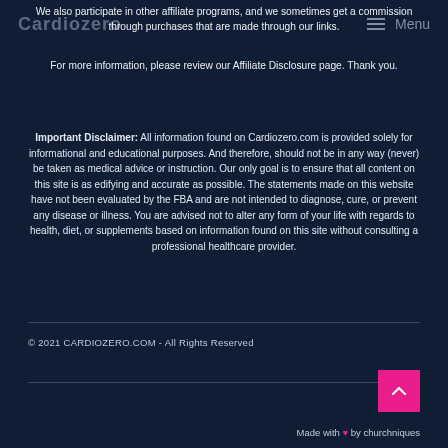Cardiozero  Menu
We also participate in other affiliate programs, and we sometimes get a commission through purchases that are made through our links.
For more information, please review our Affiliate Disclosure page. Thank you.
Important Disclaimer: All information found on Cardiozero.com is provided solely for informational and educational purposes. And therefore, should not be in any way (never) be taken as medical advice or instruction. Our only goal is to ensure that all content on this site is as edifying and accurate as possible. The statements made on this website have not been evaluated by the FBA and are not intended to diagnose, cure, or prevent any disease or illness. You are advised not to alter any form of your life with regards to health, diet, or supplements based on information found on this site without consulting a professional healthcare provider.
© 2021 CARDIOZERO.COM - All Rights Reserved
Made with ♥ by churchniques